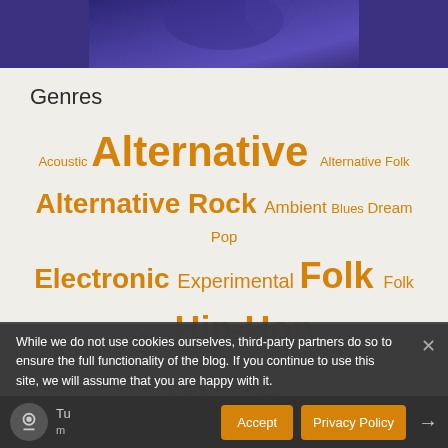[Figure (photo): Dark purple/blue image at the top of the page, partially cropped]
Genres
[Figure (infographic): Tag cloud of music genres in orange text at various sizes: Acoustic, Alternative, Alternative Folk, Alternative Rock, Ambient, Blues, Dream Pop, Electronic, Experimental, Folk, Folk Rock, Hip-Hop, Hip-Hop/Rap, Indie, Indie Folk, Indie Pop, Indie Rock, Lo-fi, Pop, Psychedelic, Punk, Rap, Reggae, Rock, Singer-Songwriter]
While we do not use cookies ourselves, third-party partners do so to ensure the full functionality of the blog. If you continue to use this site, we will assume that you are happy with it.